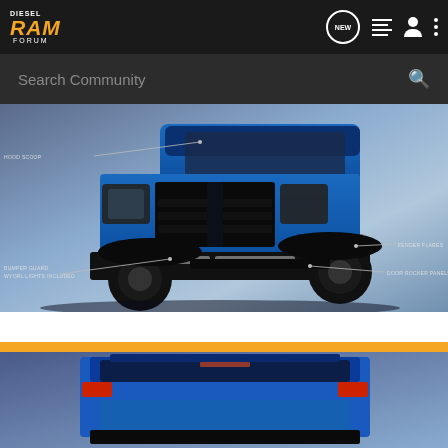[Figure (screenshot): Diesel RAM Forum mobile app navigation bar with logo, NEW button, list icon, user icon, and menu dots]
[Figure (screenshot): Search Community bar with search icon]
[Figure (photo): Blue Dodge RAM truck front 3/4 view with annotations: HOOD SCOOP, FENDER FLARES, BUMPER GUARD - WYORL LIGHTS INCLUDED, DOOR ROCKER PANELS]
[Figure (photo): Partial view of blue Dodge RAM truck rear, second image cut off at bottom of page]